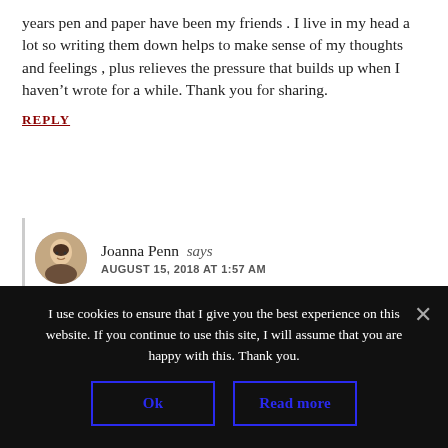years pen and paper have been my friends . I live in my head a lot so writing them down helps to make sense of my thoughts and feelings , plus relieves the pressure that builds up when I haven't wrote for a while. Thank you for sharing.
REPLY
Joanna Penn says
AUGUST 15, 2018 AT 1:57 AM
I also get that pressure building if I don't write enough. Even a few pages of journalling eases
I use cookies to ensure that I give you the best experience on this website. If you continue to use this site, I will assume that you are happy with this. Thank you.
Ok    Read more